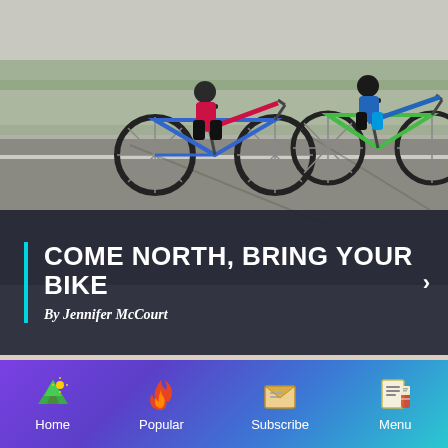[Figure (photo): Two cyclists riding road bikes on a paved road, one with a blue bike and one with a green bike, viewed from behind/side, road surface visible with shadows]
COME NORTH, BRING YOUR BIKE
By Jennifer McCourt
[Figure (photo): Blurred close-up photo of food items, likely pastries or baked goods on a surface]
Home  Popular  Subscribe  Menu